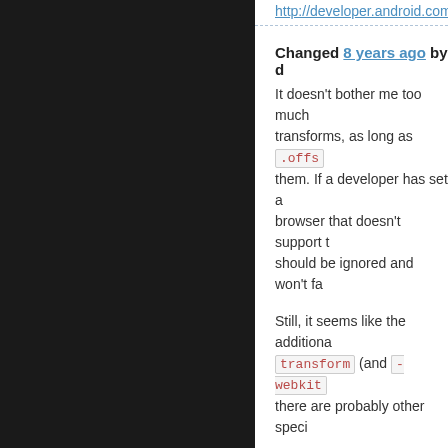http://developer.android.com...
Changed 8 years ago by d...
It doesn't bother me too much... transforms, as long as .offs... them. If a developer has set a... browser that doesn't support t... should be ignored and won't fa...
Still, it seems like the additiona... transform (and -webkit... there are probably other speci...
@jlukic do you have some coo...
Changed 8 years ago by jlu...
I haven't written a workaround...
Don't under-estimate the impo... its context, from sticky menus...
Changed 8 years ago by m...